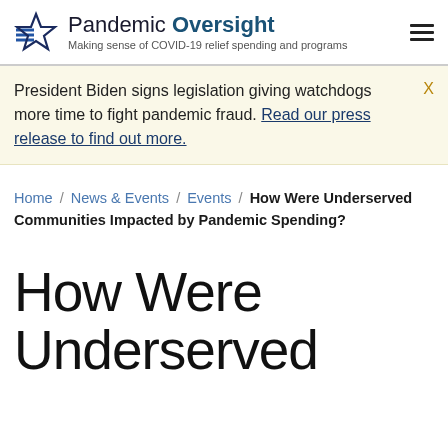Pandemic Oversight — Making sense of COVID-19 relief spending and programs
President Biden signs legislation giving watchdogs more time to fight pandemic fraud. Read our press release to find out more.
Home / News & Events / Events / How Were Underserved Communities Impacted by Pandemic Spending?
How Were Underserved